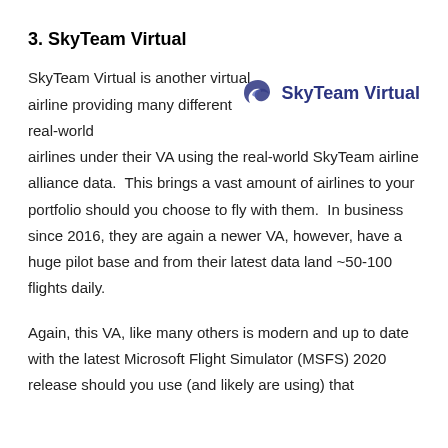3. SkyTeam Virtual
SkyTeam Virtual is another virtual airline providing many different real-world airlines under their VA using the real-world SkyTeam airline alliance data.  This brings a vast amount of airlines to your portfolio should you choose to fly with them.  In business since 2016, they are again a newer VA, however, have a huge pilot base and from their latest data land ~50-100 flights daily.
[Figure (logo): SkyTeam Virtual logo with stylized blue wing/swirl icon and text 'SkyTeam Virtual' in dark blue]
Again, this VA, like many others is modern and up to date with the latest Microsoft Flight Simulator (MSFS) 2020 release should you use (and likely are using) that